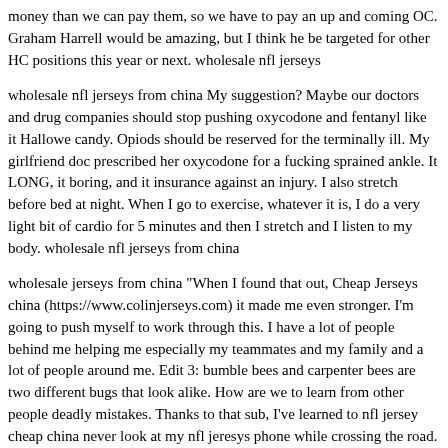money than we can pay them, so we have to pay an up and coming OC. Graham Harrell would be amazing, but I think he be targeted for other HC positions this year or next. wholesale nfl jerseys
wholesale nfl jerseys from china My suggestion? Maybe our doctors and drug companies should stop pushing oxycodone and fentanyl like it Hallowe candy. Opiods should be reserved for the terminally ill. My girlfriend doc prescribed her oxycodone for a fucking sprained ankle. It LONG, it boring, and it insurance against an injury. I also stretch before bed at night. When I go to exercise, whatever it is, I do a very light bit of cardio for 5 minutes and then I stretch and I listen to my body. wholesale nfl jerseys from china
wholesale jerseys from china "When I found that out, Cheap Jerseys china (https://www.colinjerseys.com) it made me even stronger. I'm going to push myself to work through this. I have a lot of people behind me helping me especially my teammates and my family and a lot of people around me. Edit 3: bumble bees and carpenter bees are two different bugs that look alike. How are we to learn from other people deadly mistakes. Thanks to that sub, I've learned to nfl jersey cheap china never look at my nfl jeresys phone while crossing the road. wholesale jerseys from china
Cheap Jerseys free shipping Follow CNNDaniel Jones took over for